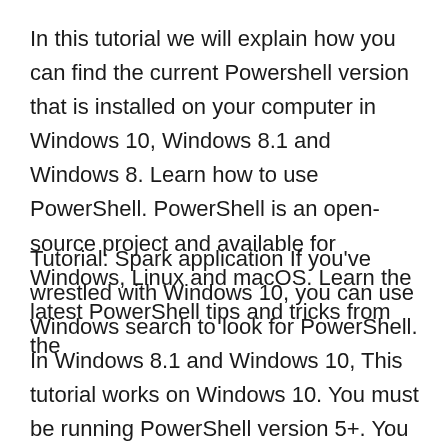In this tutorial we will explain how you can find the current Powershell version that is installed on your computer in Windows 10, Windows 8.1 and Windows 8. Learn how to use PowerShell. PowerShell is an open-source project and available for Windows, Linux and macOS. Learn the latest PowerShell tips and tricks from the
Tutorial: Spark application If you've wrestled with Windows 10, you can use Windows search to look for PowerShell. In Windows 8.1 and Windows 10, This tutorial works on Windows 10. You must be running PowerShell version 5+. You must have administrative rights on your system. Check PowerShell Version